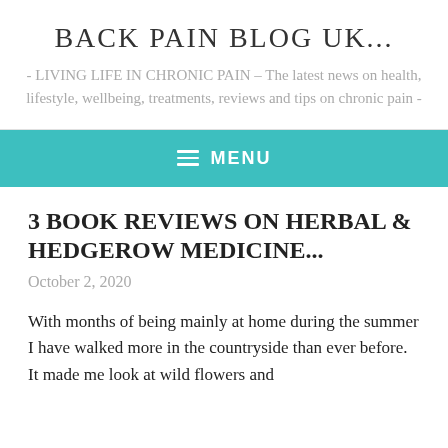BACK PAIN BLOG UK...
- LIVING LIFE IN CHRONIC PAIN – The latest news on health, lifestyle, wellbeing, treatments, reviews and tips on chronic pain -
≡  MENU
3 BOOK REVIEWS ON HERBAL & HEDGEROW MEDICINE...
October 2, 2020
With months of being mainly at home during the summer I have walked more in the countryside than ever before. It made me look at wild flowers and